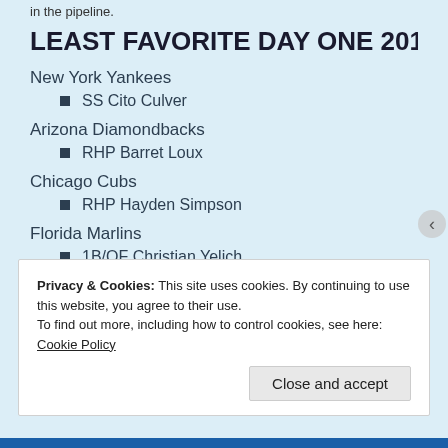in the pipeline.
LEAST FAVORITE DAY ONE 2010 MLB DI
New York Yankees
SS Cito Culver
Arizona Diamondbacks
RHP Barret Loux
Chicago Cubs
RHP Hayden Simpson
Florida Marlins
1B/OF Christian Yelich
Privacy & Cookies: This site uses cookies. By continuing to use this website, you agree to their use.
To find out more, including how to control cookies, see here: Cookie Policy
Close and accept